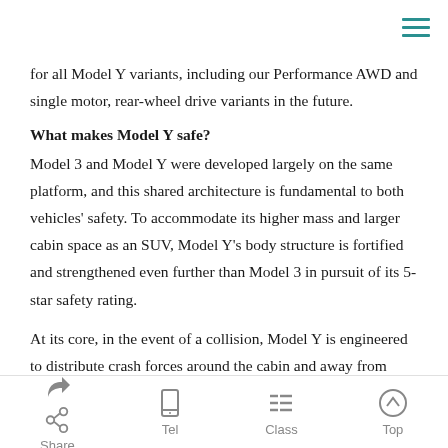for all Model Y variants, including our Performance AWD and single motor, rear-wheel drive variants in the future.
What makes Model Y safe?
Model 3 and Model Y were developed largely on the same platform, and this shared architecture is fundamental to both vehicles' safety. To accommodate its higher mass and larger cabin space as an SUV, Model Y's body structure is fortified and strengthened even further than Model 3 in pursuit of its 5-star safety rating.
At its core, in the event of a collision, Model Y is engineered to distribute crash forces around the cabin and away from vehicle occupants, greatly reducing the risk of injury. Our front and rear crumple zones and
Share | Tel | Class | Top